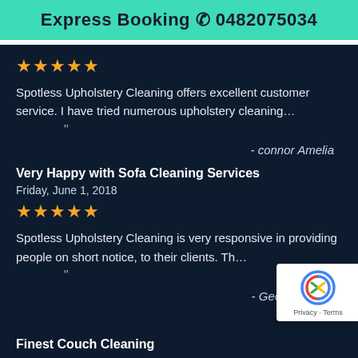Express Booking 📞 0482075034
★★★★★
Spotless Upholstery Cleaning offers excellent customer service. I have tried numerous upholstery cleaning…
"
- connor Amelia
Very Happy with Sofa Cleaning Services
Friday, June 1, 2018
★★★★★
Spotless Upholstery Cleaning is very responsive in providing people on short notice, to their clients. Th…
"
- George Oscar
Finest Couch Cleaning